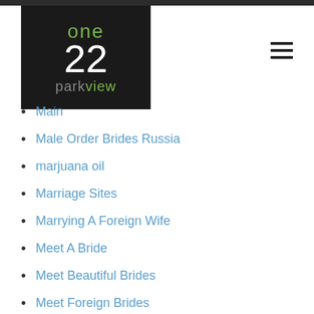[Figure (logo): One 22 Parkview logo — black background with green 'one', white '22', and grey/green 'parkview' text]
Main
Male Order Brides Russia
marjuana oil
Marriage Sites
Marrying A Foreign Wife
Meet A Bride
Meet Beautiful Brides
Meet Foreign Brides
Meet Gorgeous Brides
Meet Internet Brides